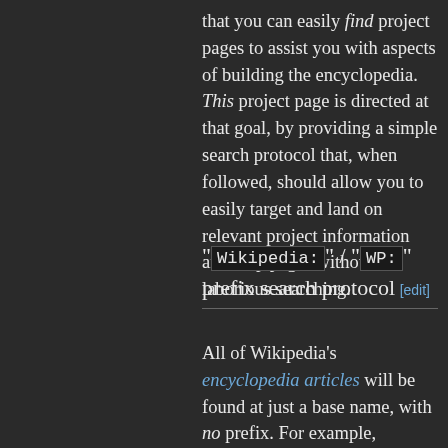that you can easily find project pages to assist you with aspects of building the encyclopedia. This project page is directed at that goal, by providing a simple search protocol that, when followed, should allow you to easily target and land on relevant project information and help pages without laborious searching.
"Wikipedia:" / "WP:" prefix search protocol [edit]
All of Wikipedia's encyclopedia articles will be found at just a base name, with no prefix. For example, Wikipedia's encyclopedia article on the movie, The Godfather, is at just the title: "The Godfather". All internal project pages, by contrast, have a prefix in their names,